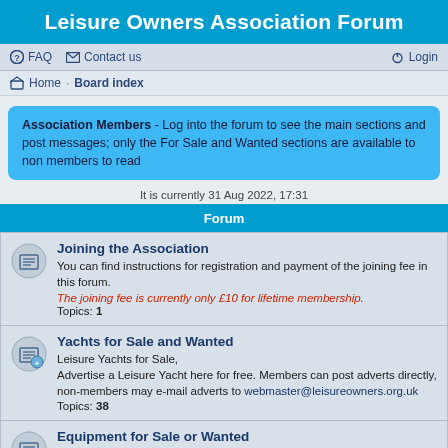Leisure Owners Association Forum
FAQ  Contact us  Login
Home · Board index
Association Members - Log into the forum to see the main sections and post messages; only the For Sale and Wanted sections are available to non members to read
It is currently 31 Aug 2022, 17:31
Forum
Joining the Association
You can find instructions for registration and payment of the joining fee in this forum.
The joining fee is currently only £10 for lifetime membership.
Topics: 1
Yachts for Sale and Wanted
Leisure Yachts for Sale,
Advertise a Leisure Yacht here for free. Members can post adverts directly, non-members may e-mail adverts to webmaster@leisureowners.org.uk
Topics: 38
Equipment for Sale or Wanted
Buy or sell Equipment to Leisure Yacht owners here - free for six months. Members can post adverts directly, non-members may e-mail adverts to